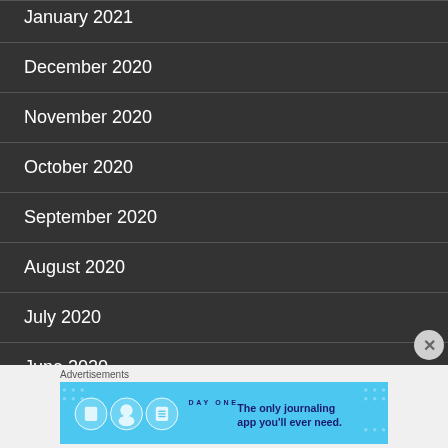January 2021
December 2020
November 2020
October 2020
September 2020
August 2020
July 2020
June 2020
[Figure (infographic): Day One app advertisement banner with blue background, app icons, 'DAY ONE' text, and tagline 'The only journaling app you'll ever need.']